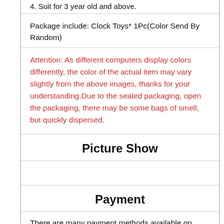4. Suit for 3 year old and above.
Package include: Clock Toys* 1Pc(Color Send By Random)
Attention: As different computers display colors differently, the color of the actual item may vary slightly from the above images, thanks for your understanding.Due to the sealed packaging, open the packaging, there may be some bags of smell, but quickly dispersed.
Picture Show
Payment
There are many payment methods available on Aliexpress such as Alipay, Credit Cards,Real-time Bank Transfers,